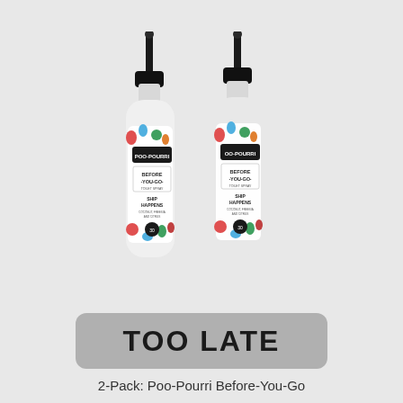[Figure (photo): Two white spray bottles of Poo-Pourri Before-You-Go Toilet Spray in Ship Happens scent (Coconut, Freesia and Citrus), with black pump tops, decorated with colorful floral and nautical label designs.]
TOO LATE
2-Pack: Poo-Pourri Before-You-Go